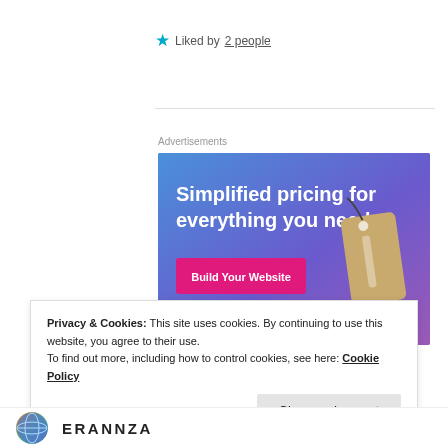★ Liked by 2 people
[Figure (infographic): Advertisement banner with blue-purple gradient background showing 'Simplified pricing for everything you need.' headline and a 'Build Your Website' pink button, with a price tag image on the right.]
Advertisements
Privacy & Cookies: This site uses cookies. By continuing to use this website, you agree to their use. To find out more, including how to control cookies, see here: Cookie Policy
Close and accept
ERANNZA